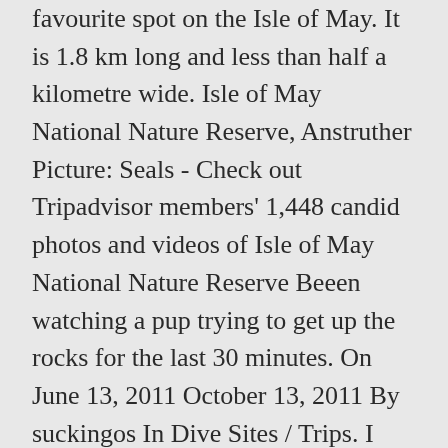favourite spot on the Isle of May. It is 1.8 km long and less than half a kilometre wide. Isle of May National Nature Reserve, Anstruther Picture: Seals - Check out Tripadvisor members' 1,448 candid photos and videos of Isle of May National Nature Reserve Beeen watching a pup trying to get up the rocks for the last 30 minutes. On June 13, 2011 October 13, 2011 By suckingos In Dive Sites / Trips. I enjoyed the island immensely. For its small size it has a tremendous variety of wildlife and is renowned for its rich bird life, seals and reefs. Thank you to all of our users for coming on this journey with us - we've loved following your travels, and the content shared within this community. Get premium, high resolution